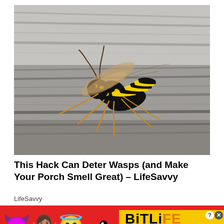[Figure (photo): Close-up photograph of a yellow and black wasp (yellowjacket) sitting on weathered gray wood. The wasp has distinctive yellow and black striped abdomen, brown wings, and orange-yellow legs. The background shows blurred gray wooden planks.]
This Hack Can Deter Wasps (and Make Your Porch Smell Great) – LifeSavvy
LifeSavvy
[Figure (screenshot): Advertisement banner for BitLife game app. Red background with emojis (devil, woman shrugging, angel/smiling face with halo) on the left. Right side shows yellow bar with BitLife logo in black/orange bold text, a sperm emoji icon, info and close icons top right. Below in black bar: REAL CHOICES in white bold Impact font.]